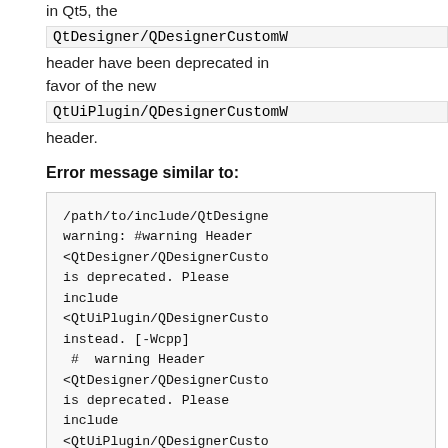in Qt5, the
QtDesigner/QDesignerCustomW
header have been deprecated in favor of the new
QtUiPlugin/QDesignerCustomW
header.
Error message similar to:
/path/to/include/QtDesigne
warning: #warning Header
<QtDesigner/QDesignercCusto
is deprecated. Please
include
<QtUiPlugin/QDesignerCusto
instead. [-Wcpp]
 #  warning Header
<QtDesigner/QDesignerCusto
is deprecated. Please
include
<QtUiPlugin/QDesignerCusto
instead.
        ^